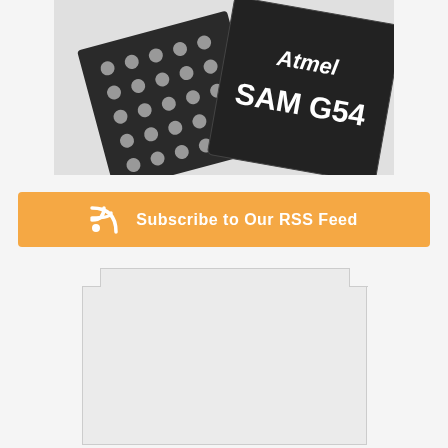[Figure (photo): Two Atmel SAM G54 microcontroller chips. One chip on the left shows BGA (Ball Grid Array) solder balls on its underside. The larger chip on the right shows the top with the Atmel logo and 'SAM G54' text in white on a dark surface.]
Subscribe to Our RSS Feed
[Figure (other): A light gray rectangle with corner notches cut out at the top-left and top-right, representing a partially visible UI element or image placeholder.]